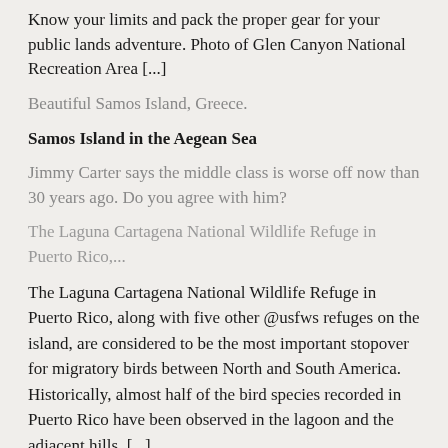Know your limits and pack the proper gear for your public lands adventure. Photo of Glen Canyon National Recreation Area [...]
Beautiful Samos Island, Greece.
Samos Island in the Aegean Sea
Jimmy Carter says the middle class is worse off now than 30 years ago. Do you agree with him?
The Laguna Cartagena National Wildlife Refuge in Puerto Rico,...
The Laguna Cartagena National Wildlife Refuge in Puerto Rico, along with five other @usfws refuges on the island, are considered to be the most important stopover for migratory birds between North and South America. Historically, almost half of the bird species recorded in Puerto Rico have been observed in the lagoon and the adjacent hills. [...]
At just 160 square acres of land, Rainbow Bridge